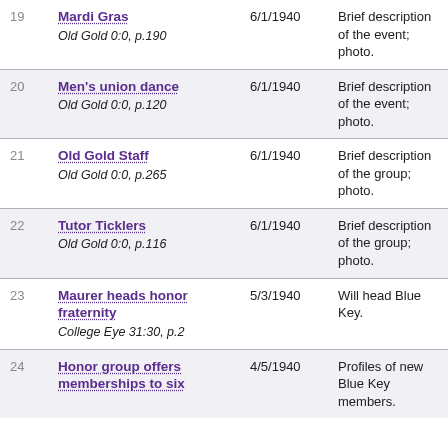| # | Title / Source | Date | Description |
| --- | --- | --- | --- |
| 19 | Mardi Gras
Old Gold 0:0, p.190 | 6/1/1940 | Brief description of the event; photo. |
| 20 | Men's union dance
Old Gold 0:0, p.120 | 6/1/1940 | Brief description of the event; photo. |
| 21 | Old Gold Staff
Old Gold 0:0, p.265 | 6/1/1940 | Brief description of the group; photo. |
| 22 | Tutor Ticklers
Old Gold 0:0, p.116 | 6/1/1940 | Brief description of the group; photo. |
| 23 | Maurer heads honor fraternity
College Eye 31:30, p.2 | 5/3/1940 | Will head Blue Key. |
| 24 | Honor group offers memberships to six | 4/5/1940 | Profiles of new Blue Key members. |